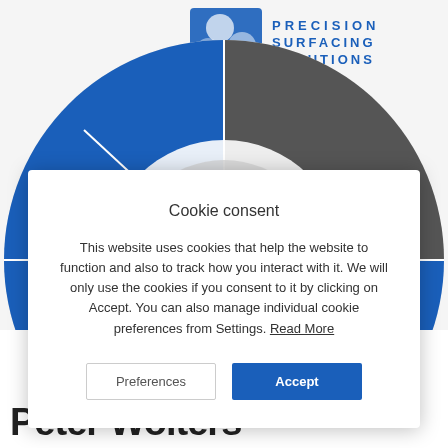[Figure (logo): Precision Surfacing Solutions wheel/dial graphic showing brand segments: Lapmaster (blue), Peter Wolters (dark gray), Micron (blue), Barnes (blue), with 'OUR FAMILY' text in center-bottom, and PSS logo (blue squares icon + PRECISION SURFACING SOLUTIONS text) at top center.]
Cookie consent

This website uses cookies that help the website to function and also to track how you interact with it. We will only use the cookies if you consent to it by clicking on Accept. You can also manage individual cookie preferences from Settings. Read More
Peter Wolters